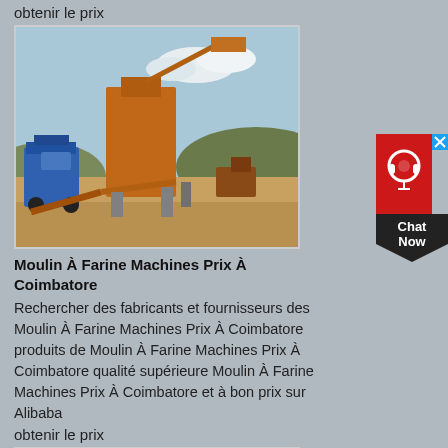obtenir le prix
[Figure (photo): Industrial mining/crushing equipment with orange and blue machinery on a dusty terrain with hills in the background]
Moulin À Farine Machines Prix À Coimbatore
Rechercher des fabricants et fournisseurs des Moulin À Farine Machines Prix À Coimbatore produits de Moulin À Farine Machines Prix À Coimbatore qualité supérieure Moulin À Farine Machines Prix À Coimbatore et à bon prix sur Alibaba
obtenir le prix
[Figure (photo): Industrial conveyor belt and heavy machinery equipment against a blue sky]